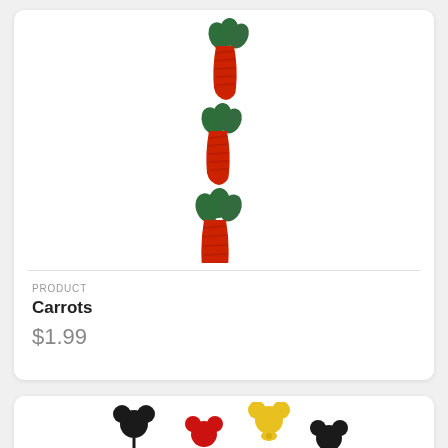[Figure (photo): Three carrot-shaped decorative items (reddish-orange with green tops) arranged vertically in a white product card]
PRODUCT
Carrots
$1.99
[Figure (photo): Several Mickey Mouse shaped items in black, red, and yellow colors partially visible at bottom of page]